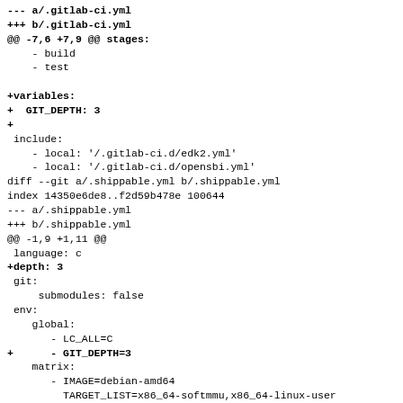--- a/.gitlab-ci.yml
+++ b/.gitlab-ci.yml
@@ -7,6 +7,9 @@ stages:
    - build
    - test

+variables:
+  GIT_DEPTH: 3
+
 include:
    - local: '/.gitlab-ci.d/edk2.yml'
    - local: '/.gitlab-ci.d/opensbi.yml'
diff --git a/.shippable.yml b/.shippable.yml
index 14350e6de8..f2d59b478e 100644
--- a/.shippable.yml
+++ b/.shippable.yml
@@ -1,9 +1,11 @@
 language: c
+depth: 3
 git:
     submodules: false
 env:
    global:
       - LC_ALL=C
+      - GIT_DEPTH=3
    matrix:
       - IMAGE=debian-amd64
         TARGET_LIST=x86_64-softmmu,x86_64-linux-user
diff --git a/.travis.yml b/.travis.yml
index f2a101936c..f2a785a42b 100644